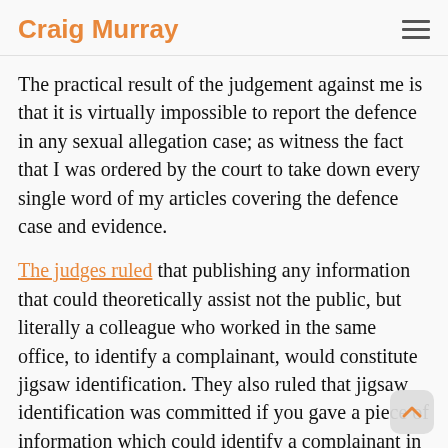Craig Murray
The practical result of the judgement against me is that it is virtually impossible to report the defence in any sexual allegation case; as witness the fact that I was ordered by the court to take down every single word of my articles covering the defence case and evidence.
The judges ruled that publishing any information that could theoretically assist not the public, but literally a colleague who worked in the same office, to identify a complainant, would constitute jigsaw identification. They also ruled that jigsaw identification was committed if you gave a piece of information which could identify a complainant in conjunction with information that could be found anywhere else, no matter how obscure. For example, if information from page 19 of the Inverurie